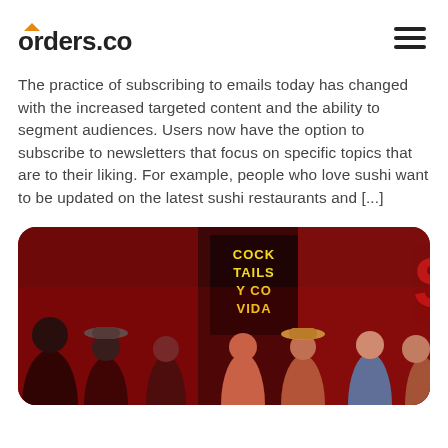orders.co
The practice of subscribing to emails today has changed with the increased targeted content and the ability to segment audiences. Users now have the option to subscribe to newsletters that focus on specific topics that are to their liking. For example, people who love sushi want to be updated on the latest sushi restaurants and [...]
[Figure (photo): A crowded bar/restaurant scene bathed in red neon light, with a sign reading 'COCKTAILS Y CO VIDA' and people socializing in the foreground.]